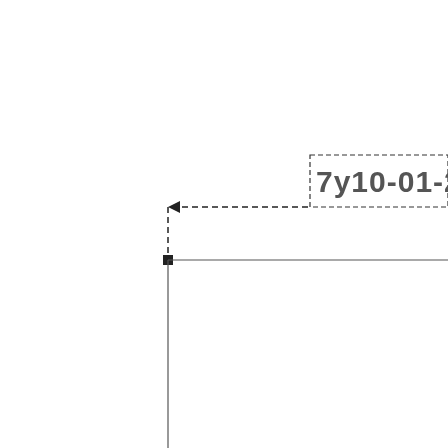[Figure (engineering-diagram): Engineering/CAD diagram fragment showing a dashed rectangular annotation box in the upper right containing partial text '7y10-01-20', a dashed horizontal arrow pointing left toward a vertical dashed line, and two solid lines forming an L-shape (horizontal line going right and vertical line going down) meeting at a filled square node point.]